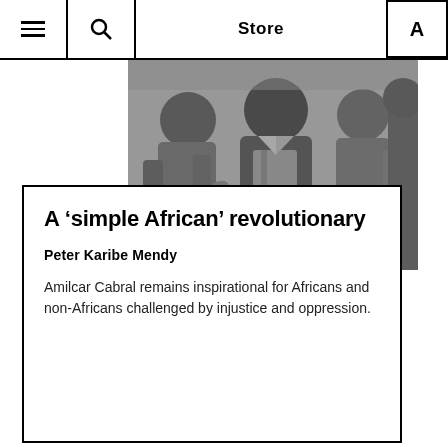Store
[Figure (photo): Black and white photograph of people, appearing to be in a crowd or gathering, grayscale tones]
A ‘simple African’ revolutionary
Peter Karibe Mendy
Amilcar Cabral remains inspirational for Africans and non-Africans challenged by injustice and oppression.